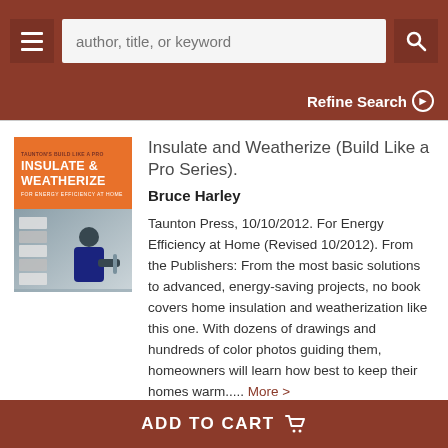author, title, or keyword [search bar] | Refine Search
[Figure (illustration): Book cover for 'Insulate & Weatherize' showing orange top with title text and a photo of a person working on home insulation]
Insulate and Weatherize (Build Like a Pro Series).
Bruce Harley
Taunton Press, 10/10/2012. For Energy Efficiency at Home (Revised 10/2012). From the Publishers: From the most basic solutions to advanced, energy-saving projects, no book covers home insulation and weatherization like this one. With dozens of drawings and hundreds of color photos guiding them, homeowners will learn how best to keep their homes warm..... More >
ADD TO CART